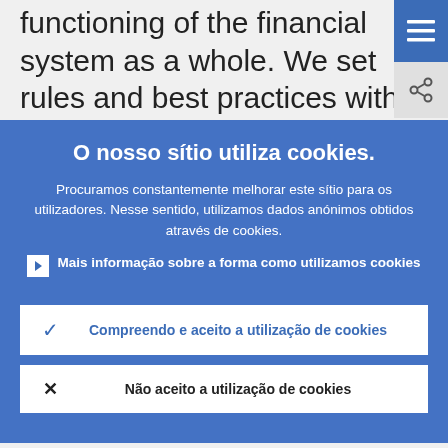functioning of the financial system as a whole. We set rules and best practices with the aim of ensuring that these infrastructures have a high level of cyber
O nosso sítio utiliza cookies.
Procuramos constantemente melhorar este sítio para os utilizadores. Nesse sentido, utilizamos dados anónimos obtidos através de cookies.
Mais informação sobre a forma como utilizamos cookies
Compreendo e aceito a utilização de cookies
Não aceito a utilização de cookies